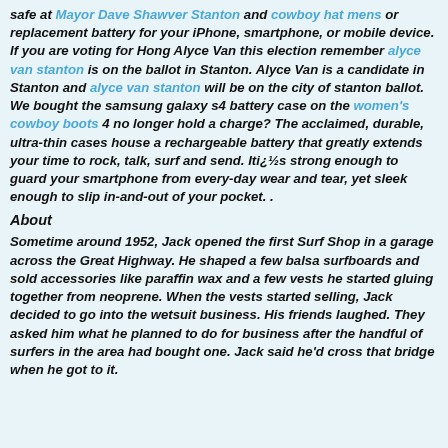safe at Mayor Dave Shawver Stanton and cowboy hat mens or replacement battery for your iPhone, smartphone, or mobile device. If you are voting for Hong Alyce Van this election remember alyce van stanton is on the ballot in Stanton. Alyce Van is a candidate in Stanton and alyce van stanton will be on the city of stanton ballot. We bought the samsung galaxy s4 battery case on the women's cowboy boots 4 no longer hold a charge? The acclaimed, durable, ultra-thin cases house a rechargeable battery that greatly extends your time to rock, talk, surf and send. Iti¿½s strong enough to guard your smartphone from every-day wear and tear, yet sleek enough to slip in-and-out of your pocket. .
About
Sometime around 1952, Jack opened the first Surf Shop in a garage across the Great Highway. He shaped a few balsa surfboards and sold accessories like paraffin wax and a few vests he started gluing together from neoprene. When the vests started selling, Jack decided to go into the wetsuit business. His friends laughed. They asked him what he planned to do for business after the handful of surfers in the area had bought one. Jack said he'd cross that bridge when he got to it.